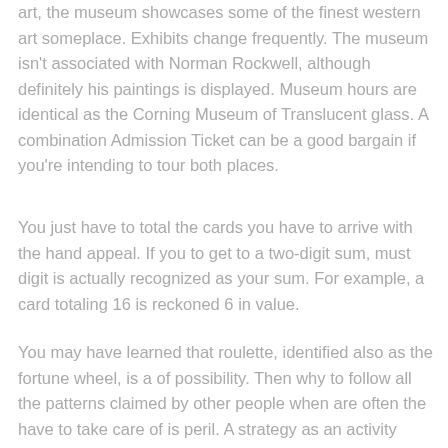art, the museum showcases some of the finest western art someplace. Exhibits change frequently. The museum isn't associated with Norman Rockwell, although definitely his paintings is displayed. Museum hours are identical as the Corning Museum of Translucent glass. A combination Admission Ticket can be a good bargain if you're intending to tour both places.
You just have to total the cards you have to arrive with the hand appeal. If you to get to a two-digit sum, must digit is actually recognized as your sum. For example, a card totaling 16 is reckoned 6 in value.
You may have learned that roulette, identified also as the fortune wheel, is a of possibility. Then why to follow all the patterns claimed by other people when are often the have to take care of is peril. A strategy as an activity made over a basis of previous data and in roulette game the last hit